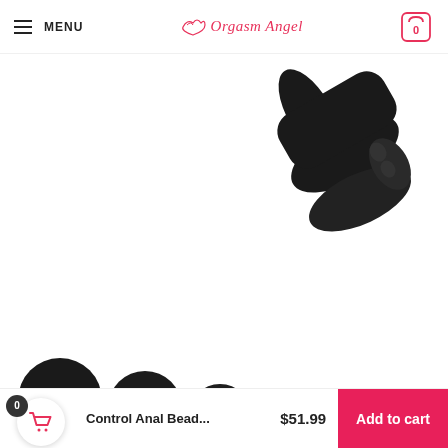MENU | Orgasm Angel | Cart: 0
[Figure (photo): Close-up of a black silicone product (upper portion), partially visible against a white background]
[Figure (photo): Black silicone anal beads partially visible at bottom-left of the page, showing multiple rounded spherical segments]
Control Anal Bead... $51.99 Add to cart